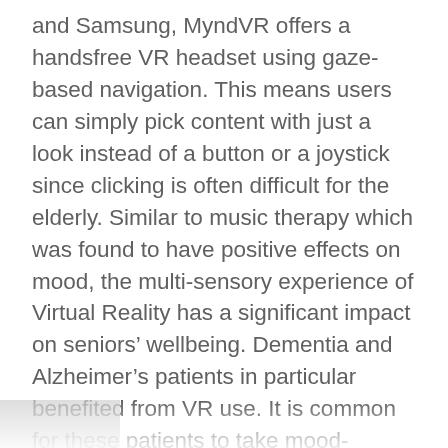and Samsung, MyndVR offers a handsfree VR headset using gaze-based navigation. This means users can simply pick content with just a look instead of a button or a joystick since clicking is often difficult for the elderly. Similar to music therapy which was found to have positive effects on mood, the multi-sensory experience of Virtual Reality has a significant impact on seniors' wellbeing. Dementia and Alzheimer's patients in particular benefited from VR use. It is common for these patients to take mood-altering medication to manage their condition but this often causes patients to feel withdrawn and unengaged. With the VR handset, in contrast, patients' moods were markedly boosted without the need for medication. Brian Barnes, the CFO/COO of The Legacy Senior Communities, recalled, “In one case, a resident living with Alzheimer’s exhibited personality traits she had prior to the diagnosis,